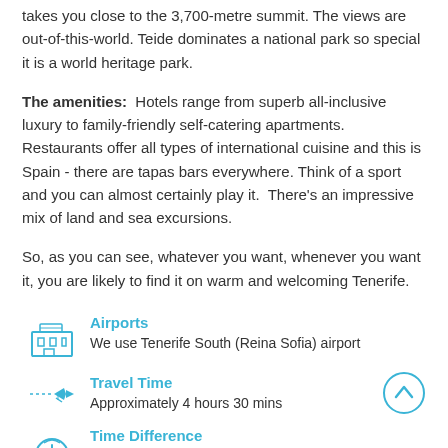takes you close to the 3,700-metre summit. The views are out-of-this-world. Teide dominates a national park so special it is a world heritage park.
The amenities: Hotels range from superb all-inclusive luxury to family-friendly self-catering apartments. Restaurants offer all types of international cuisine and this is Spain - there are tapas bars everywhere. Think of a sport and you can almost certainly play it. There's an impressive mix of land and sea excursions.
So, as you can see, whatever you want, whenever you want it, you are likely to find it on warm and welcoming Tenerife.
Airports
We use Tenerife South (Reina Sofia) airport
Travel Time
Approximately 4 hours 30 mins
Time Difference
No difference between Tenerife and UK